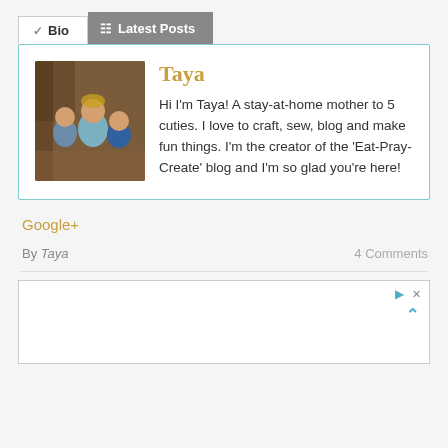Bio | Latest Posts
Taya
Hi I'm Taya! A stay-at-home mother to 5 cuties. I love to craft, sew, blog and make fun things. I'm the creator of the 'Eat-Pray-Create' blog and I'm so glad you're here!
Google+
By Taya    4 Comments
[Figure (other): Advertisement box with play and close icons]